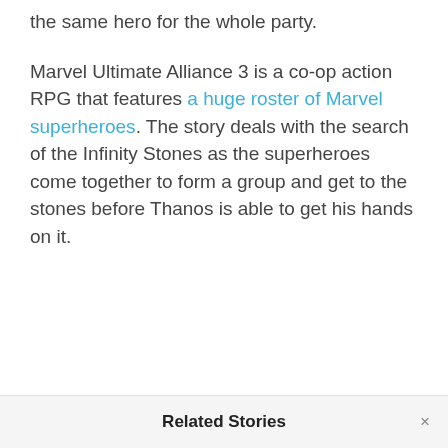the same hero for the whole party.
Marvel Ultimate Alliance 3 is a co-op action RPG that features a huge roster of Marvel superheroes. The story deals with the search of the Infinity Stones as the superheroes come together to form a group and get to the stones before Thanos is able to get his hands on it.
Related Stories